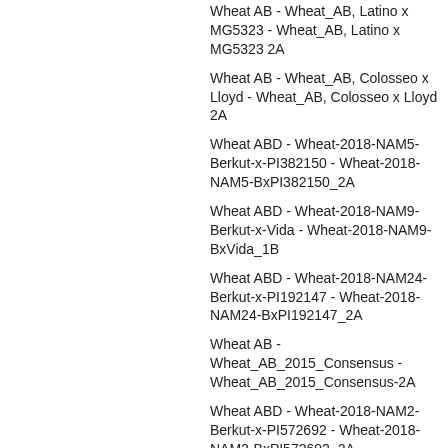Wheat AB - Wheat_AB, Latino x MG5323 - Wheat_AB, Latino x MG5323 2A
Wheat AB - Wheat_AB, Colosseo x Lloyd - Wheat_AB, Colosseo x Lloyd 2A
Wheat ABD - Wheat-2018-NAM5-Berkut-x-PI382150 - Wheat-2018-NAM5-BxPI382150_2A
Wheat ABD - Wheat-2018-NAM9-Berkut-x-Vida - Wheat-2018-NAM9-BxVida_1B
Wheat ABD - Wheat-2018-NAM24-Berkut-x-PI192147 - Wheat-2018-NAM24-BxPI192147_2A
Wheat AB - Wheat_AB_2015_Consensus - Wheat_AB_2015_Consensus-2A
Wheat ABD - Wheat-2018-NAM2-Berkut-x-PI572692 - Wheat-2018-NAM2-BxPI572692_2A
Wheat ABD - Wheat-2018-NAM11-Berkut-x-Cltr4175 - Wheat-2018-NAM11-BxCltr4175_2A